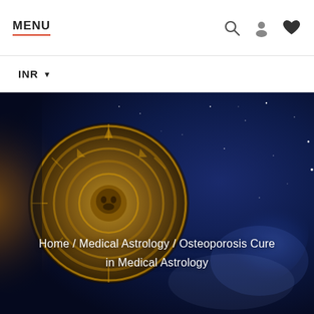MENU
INR ▼
[Figure (photo): Dark blue space/cosmic background with a golden Aztec/Mayan calendar stone disc on the left, glowing orange, set against a deep blue starry night sky with nebula clouds]
Home / Medical Astrology / Osteoporosis Cure in Medical Astrology